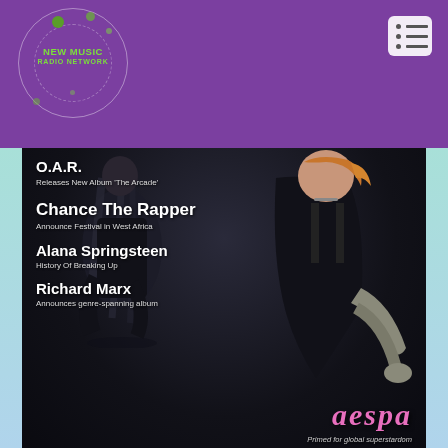[Figure (logo): New Music Radio Network logo in a circle with decorative dots on purple background]
[Figure (photo): Magazine-style cover showing two female K-pop performers (aespa) in dark atmospheric setting with rocky background. Left figure seated with long hair, right figure posing in black outfit with gloves.]
O.A.R.
Releases New Album 'The Arcade'
Chance The Rapper
Announce Festival in West Africa
Alana Springsteen
History Of Breaking Up
Richard Marx
Announces genre-spanning album
aespa
Primed for global superstardom